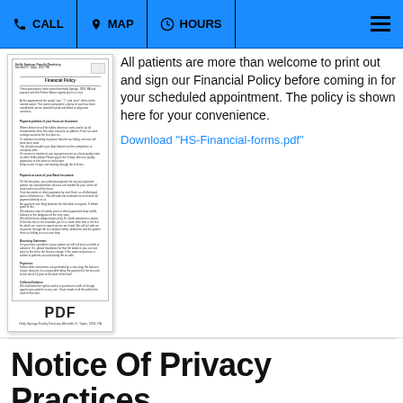CALL | MAP | HOURS
[Figure (other): Thumbnail image of a PDF document showing Financial Policy for Holly Springs Family Dentistry, Dr. Meredith D. Taylor, DDS, PA, with text blocks and PDF label at bottom.]
All patients are more than welcome to print out and sign our Financial Policy before coming in for your scheduled appointment. The policy is shown here for your convenience.
Download "HS-Financial-forms.pdf"
Notice Of Privacy Practices
Holly Springs Family Dentistry
Dr. Meredith D. Taylor, DDS, PA
Notice of Privacy Practices
This notice describes how medical information about you may be used, disclosed and how you can access this